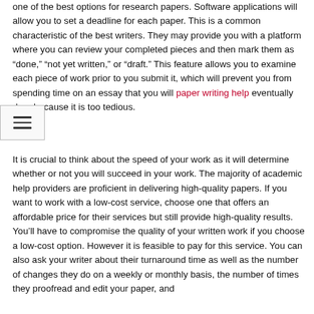one of the best options for research papers. Software applications will allow you to set a deadline for each paper. This is a common characteristic of the best writers. They may provide you with a platform where you can review your completed pieces and then mark them as “done,” “not yet written,” or “draft.” This feature allows you to examine each piece of work prior to you submit it, which will prevent you from spending time on an essay that you will paper writing help eventually drop because it is too tedious.
It is crucial to think about the speed of your work as it will determine whether or not you will succeed in your work. The majority of academic help providers are proficient in delivering high-quality papers. If you want to work with a low-cost service, choose one that offers an affordable price for their services but still provide high-quality results. You’ll have to compromise the quality of your written work if you choose a low-cost option. However it is feasible to pay for this service. You can also ask your writer about their turnaround time as well as the number of changes they do on a weekly or monthly basis, the number of times they proofread and edit your paper, and